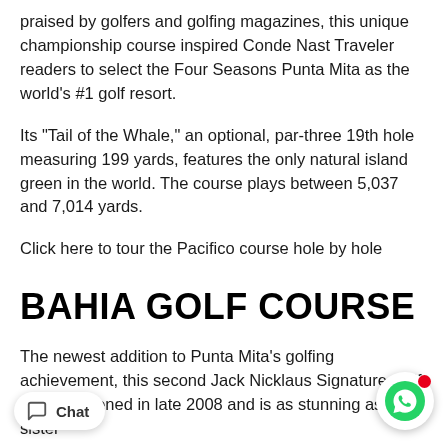praised by golfers and golfing magazines, this unique championship course inspired Conde Nast Traveler readers to select the Four Seasons Punta Mita as the world's #1 golf resort.
Its "Tail of the Whale," an optional, par-three 19th hole measuring 199 yards, features the only natural island green in the world. The course plays between 5,037 and 7,014 yards.
Click here to tour the Pacifico course hole by hole
BAHIA GOLF COURSE
The newest addition to Punta Mita's golfing achievement, this second Jack Nicklaus Signature Golf Course opened in late 2008 and is as stunning as its sister